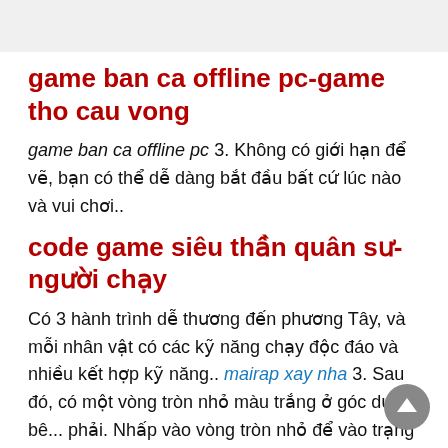game ban ca offline pc-game tho cau vong
game ban ca offline pc 3. Không có giới hạn để vẽ, bạn có thể dễ dàng bắt đầu bất cứ lúc nào và vui chơi..
code game siêu thần quân sư-người chạy
Có 3 hành trình dễ thương đến phương Tây, và mỗi nhân vật có các kỹ năng chạy độc đáo và nhiều kết hợp kỹ năng.. mairap xay nha 3. Sau đó, có một vòng tròn nhỏ màu trắng ở góc dưới bên phải. Nhấp vào vòng tròn nhỏ để vào trạng thái